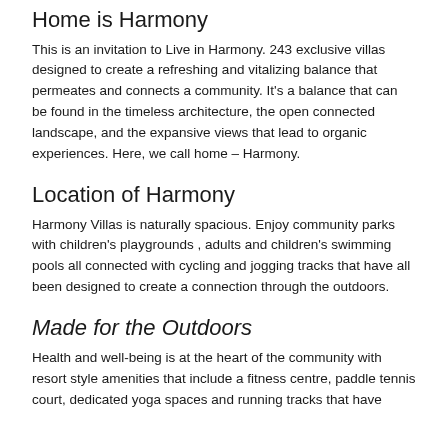Home is Harmony
This is an invitation to Live in Harmony. 243 exclusive villas designed to create a refreshing and vitalizing balance that permeates and connects a community. It's a balance that can be found in the timeless architecture, the open connected landscape, and the expansive views that lead to organic experiences. Here, we call home – Harmony.
Location of Harmony
Harmony Villas is naturally spacious. Enjoy community parks with children's playgrounds , adults and children's swimming pools all connected with cycling and jogging tracks that have all been designed to create a connection through the outdoors.
Made for the Outdoors
Health and well-being is at the heart of the community with resort style amenities that include a fitness centre, paddle tennis court, dedicated yoga spaces and running tracks that have...